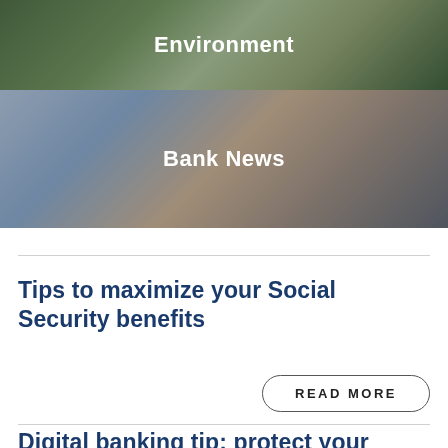[Figure (photo): Outdoor/environment photo with green foliage and solar panels, with 'Environment' label overlay]
[Figure (photo): Photo of hands using a tablet/mobile device, with 'Bank News' label overlay]
Tips to maximize your Social Security benefits
READ MORE
Digital banking tip: protect your business from ACH and check fraud